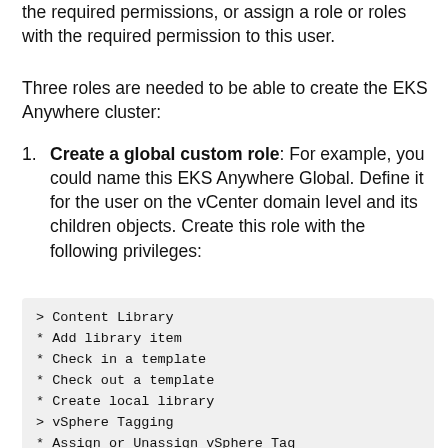the required permissions, or assign a role or roles with the required permission to this user.
Three roles are needed to be able to create the EKS Anywhere cluster:
Create a global custom role: For example, you could name this EKS Anywhere Global. Define it for the user on the vCenter domain level and its children objects. Create this role with the following privileges:
> Content Library
* Add library item
* Check in a template
* Check out a template
* Create local library
> vSphere Tagging
* Assign or Unassign vSphere Tag
* Assign or Unassign vSphere Tag on Object
* Create vSphere Tag